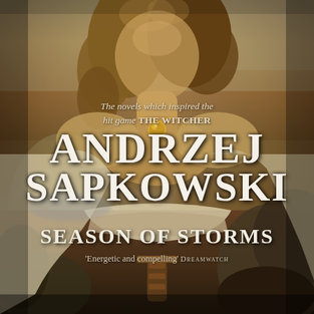[Figure (illustration): Book cover illustration showing a woman in fantasy attire with long brown curly hair, wearing a white flowing garment and a gold pendant necklace, holding a sword hilt. Background shows a dramatic coastal cliff scene with mist and rocks in sepia/golden tones.]
The novels which inspired the hit game THE WITCHER
ANDRZEJ SAPKOWSKI
SEASON OF STORMS
'Energetic and compelling' DREAMWATCH